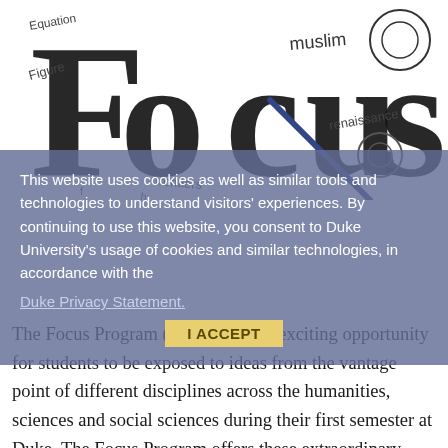[Figure (illustration): Hand-drawn illustrated logo for FOCUS program with large stylized letters and decorative doodles including words like 'muslim', 'renaissance', 'frontiers', 'Figure', and gear/circle motifs]
This website uses cookies as well as similar tools and technologies to understand visitors' experiences. By continuing to use this website, you consent to Duke University's usage of cookies and similar technologies, in accordance with the Duke Privacy Statement.
I ACCEPT
The Focus Program (FOCUS) is an exciting opportunity for students to be exposed to ideas from the vantage point of different disciplines across the humanities, sciences and social sciences during their first semester at Duke. The Focus Program offers these extraordinary opportunities to first-year, first-semester students: